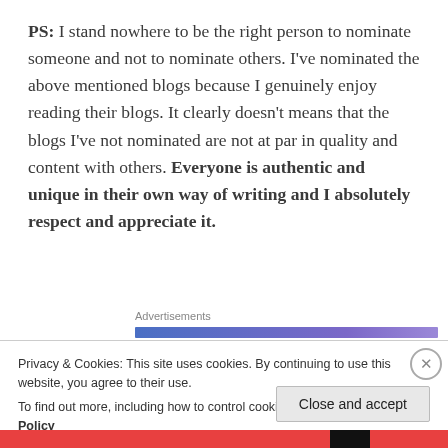PS: I stand nowhere to be the right person to nominate someone and not to nominate others. I've nominated the above mentioned blogs because I genuinely enjoy reading their blogs. It clearly doesn't means that the blogs I've not nominated are not at par in quality and content with others. Everyone is authentic and unique in their own way of writing and I absolutely respect and appreciate it.
Advertisements
Privacy & Cookies: This site uses cookies. By continuing to use this website, you agree to their use.
To find out more, including how to control cookies, see here: Cookie Policy
Close and accept